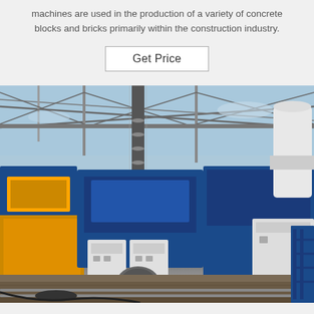machines are used in the production of a variety of concrete blocks and bricks primarily within the construction industry.
Get Price
[Figure (photo): Outdoor industrial site showing concrete block making machines — blue and yellow machinery, control panels/cabinets, structural steel roof framework, and a large storage silo in the background under a clear sky.]